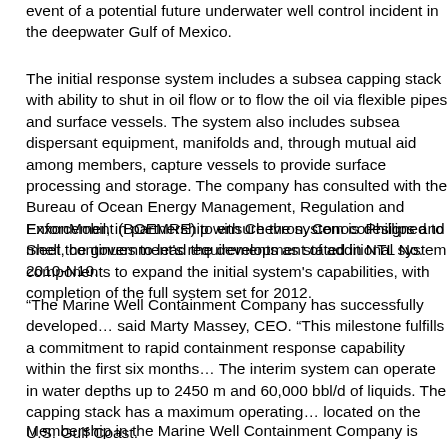event of a potential future underwater well control incident in the deepwater Gulf of Mexico.
The initial response system includes a subsea capping stack with ability to shut in oil flow or to flow the oil via flexible pipes and surface vessels. The system also includes subsea dispersant equipment, manifolds and, through mutual aid among members, capture vessels to provide surface processing and storage. The company has consulted with the Bureau of Ocean Energy Management, Regulation and Enforcement (BOEMRE) to ensure the system is designed to meet the government's requirements as stated in NTL No. 2010-N10.
ExxonMobil, in partnership with Chevron, ConocoPhillips and Shell, continues to lead the development of additional system components to expand the initial system's capabilities, with completion of the full system set for 2012.
“The Marine Well Containment Company has successfully developed… said Marty Massey, CEO. “This milestone fulfills a commitment to rapid containment response capability within the first six months… The interim system can operate in water depths up to 2450 m and 60,000 bbl/d of liquids. The capping stack has a maximum operating… located on the U.S. Gulf Coast.
Membership in the Marine Well Containment Company is open…